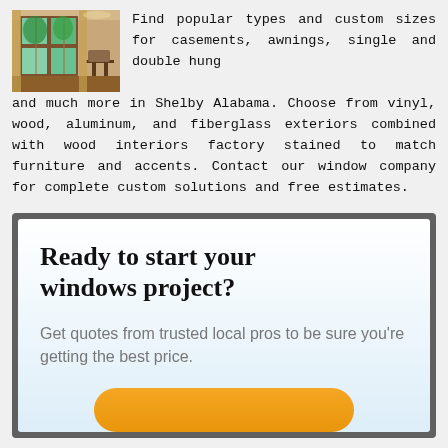[Figure (photo): Interior room photo showing wooden window frames with view to green trees outside]
Find popular types and custom sizes for casements, awnings, single and double hung and much more in Shelby Alabama. Choose from vinyl, wood, aluminum, and fiberglass exteriors combined with wood interiors factory stained to match furniture and accents. Contact our window company for complete custom solutions and free estimates.
Ready to start your windows project?
Get quotes from trusted local pros to be sure you're getting the best price.